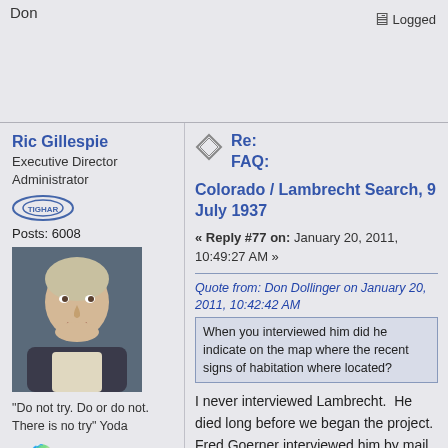Don
Logged
Ric Gillespie
Executive Director
Administrator
Posts: 6008
[Figure (photo): Avatar photo of Ric Gillespie, a man with grey-blonde hair]
"Do not try. Do or do not. There is no try" Yoda
[Figure (logo): X icon in red and globe emoji]
Re:
FAQ:
Colorado / Lambrecht Search, 9 July 1937
« Reply #77 on: January 20, 2011, 10:49:27 AM »
Quote from: Don Dollinger on January 20, 2011, 10:42:42 AM
When you interviewed him did he indicate on the map where the recent signs of habitation where located?
I never interviewed Lambrecht.  He died long before we began the project.  Fred Goerner interviewed him by mail in 1972.  I have a copy of